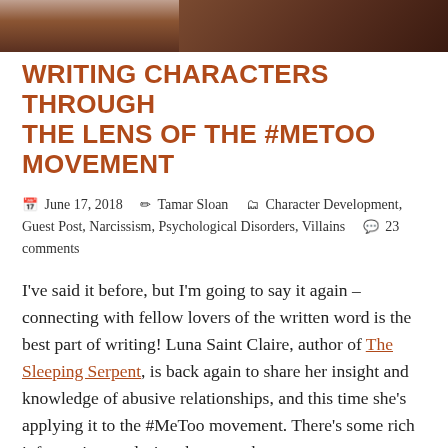[Figure (photo): Partial photo strip at top of page, showing a person with dark hair, cropped]
WRITING CHARACTERS THROUGH THE LENS OF THE #METOO MOVEMENT
📅 June 17, 2018   👤 Tamar Sloan   🗂 Character Development, Guest Post, Narcissism, Psychological Disorders, Villains   💬 23 comments
I've said it before, but I'm going to say it again – connecting with fellow lovers of the written word is the best part of writing! Luna Saint Claire, author of The Sleeping Serpent, is back again to share her insight and knowledge of abusive relationships, and this time she's applying it to the #MeToo movement. There's some rich information exploring the ways that